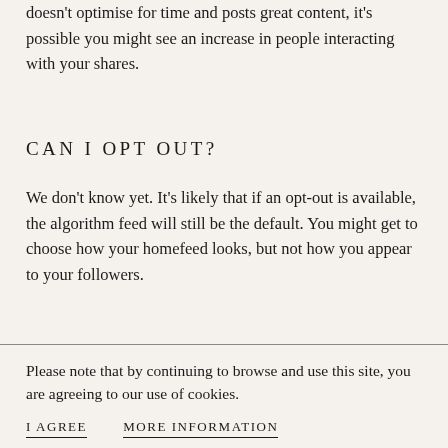doesn't optimise for time and posts great content, it's possible you might see an increase in people interacting with your shares.
CAN I OPT OUT?
We don't know yet. It's likely that if an opt-out is available, the algorithm feed will still be the default. You might get to choose how your homefeed looks, but not how you appear to your followers.
If an opt-out isn't available, you may still be able to use a third party app like Iconosquare to view a chronological timeline. It's not entirely clear yet, as the news is so fresh
Please note that by continuing to browse and use this site, you are agreeing to our use of cookies.
I AGREE    MORE INFORMATION